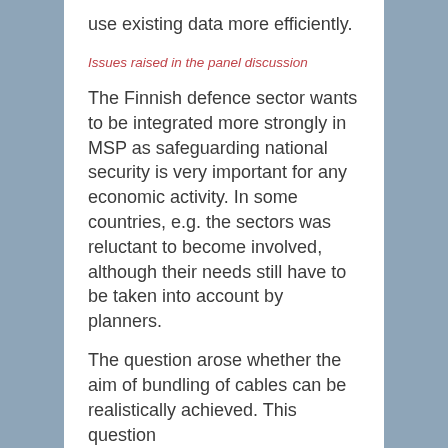use existing data more efficiently.
Issues raised in the panel discussion
The Finnish defence sector wants to be integrated more strongly in MSP as safeguarding national security is very important for any economic activity. In some countries, e.g. the sectors was reluctant to become involved, although their needs still have to be taken into account by planners.
The question arose whether the aim of bundling of cables can be realistically achieved. This question